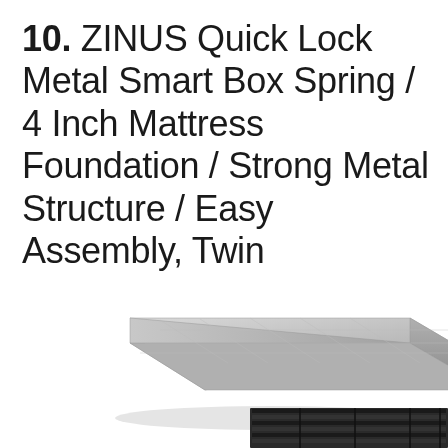10. ZINUS Quick Lock Metal Smart Box Spring / 4 Inch Mattress Foundation / Strong Metal Structure / Easy Assembly, Twin
[Figure (photo): A low-profile metal box spring / mattress foundation shown from an angled perspective view. The foundation appears silver/grey in color with a flat top surface and thin profile. Below it, partially cut off at the bottom of the page, is another view showing the metal slat structure from underneath.]